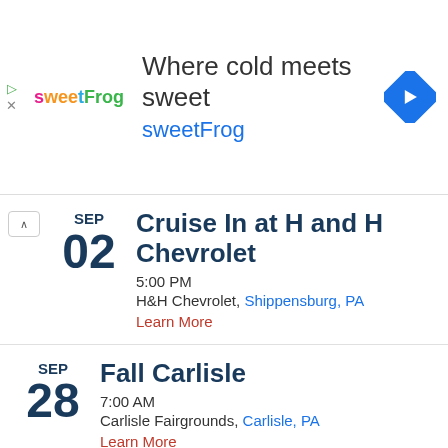[Figure (infographic): Advertisement banner for sweetFrog frozen yogurt: logo on left, headline 'Where cold meets sweet', subline 'sweetFrog', navigation diamond icon on right, with close/play icons on far left]
SEP 02 – Cruise In at H and H Chevrolet – 5:00 PM – H&H Chevrolet, Shippensburg, PA – Learn More
SEP 28 – Fall Carlisle – 7:00 AM – Carlisle Fairgrounds, Carlisle, PA – Learn More
SEP 29 – Fall Carlisle – 7:00 AM – Carlisle Fairgrounds, Carlisle, PA